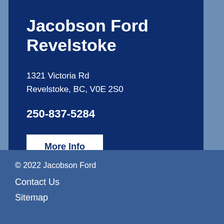Jacobson Ford Revelstoke
1321 Victoria Rd
Revelstoke, BC, V0E 2S0
250-837-5284
More Info
© 2022 Jacobson Ford
Contact Us
Sitemap